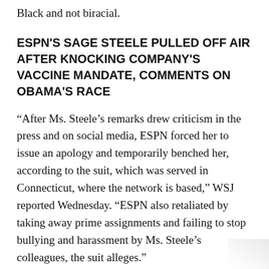Black and not biracial.
ESPN'S SAGE STEELE PULLED OFF AIR AFTER KNOCKING COMPANY'S VACCINE MANDATE, COMMENTS ON OBAMA'S RACE
“After Ms. Steele’s remarks drew criticism in the press and on social media, ESPN forced her to issue an apology and temporarily benched her, according to the suit, which was served in Connecticut, where the network is based,” WSJ reported Wednesday. “ESPN also retaliated by taking away prime assignments and failing to stop bullying and harassment by Ms. Steele’s colleagues, the suit alleges.”
AUSTIN, TX – MARCH 09: Cisco Chief